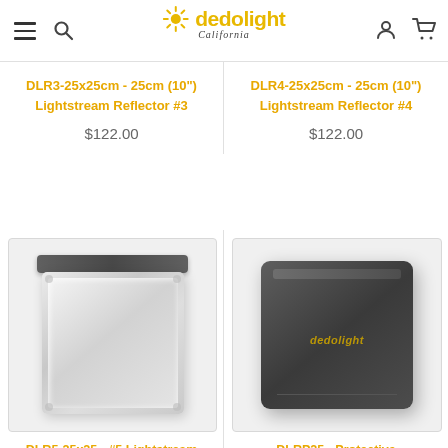dedolight California
DLR3-25x25cm - 25cm (10") Lightstream Reflector #3
$122.00
DLR4-25x25cm - 25cm (10") Lightstream Reflector #4
$122.00
[Figure (photo): Product image of DLR5-25x25 #5 Lightstream Reflector - silver square reflector panel with top bar handle]
DLR5-25x25 - #5 Lightstream Reflector
[Figure (photo): Product image of DLRP25 Protective cover - dark grey padded case with dedolight branding]
DLRP25 - Protective